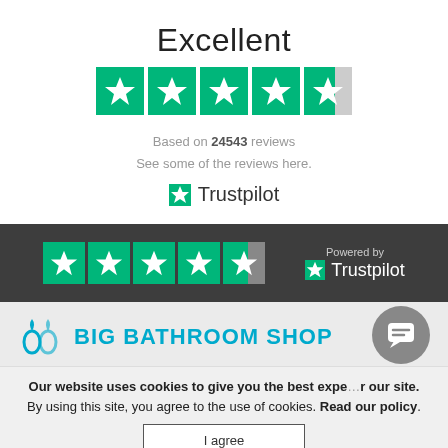Excellent
[Figure (other): Trustpilot 4.5 star rating widget showing 5 green star boxes with the last one partially filled]
Based on 24543 reviews
See some of the reviews here.
[Figure (logo): Trustpilot logo with green star icon and Trustpilot text]
[Figure (other): Dark banner with Trustpilot stars and Powered by Trustpilot logo]
[Figure (logo): Big Bathroom Shop logo with water drop icon and teal text]
Our website uses cookies to give you the best experience on our site. By using this site, you agree to the use of cookies. Read our policy.
I agree